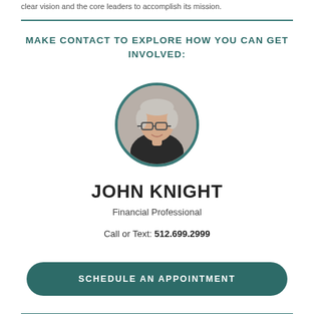clear vision and the core leaders to accomplish its mission.
MAKE CONTACT TO EXPLORE HOW YOU CAN GET INVOLVED:
[Figure (photo): Circular portrait photo of John Knight, a man with gray hair and glasses wearing a dark jacket, bordered by a teal circle.]
JOHN KNIGHT
Financial Professional
Call or Text: 512.699.2999
SCHEDULE AN APPOINTMENT